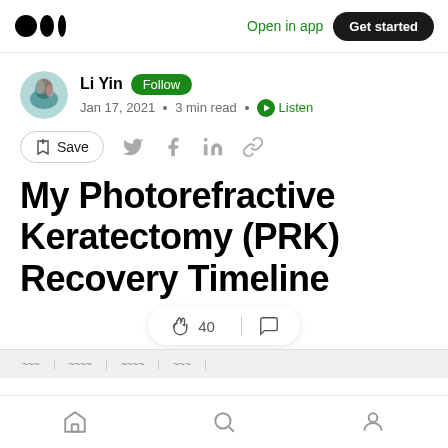Medium — Open in app · Get started
Li Yin · Follow · Jan 17, 2021 · 3 min read · Listen
Save
My Photorefractive Keratectomy (PRK) Recovery Timeline
40 claps · comments
Home · Search · Profile